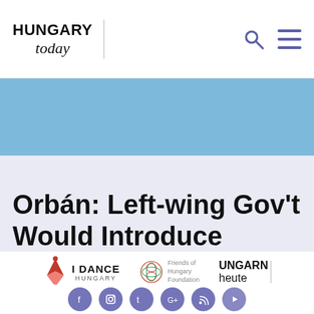HUNGARY today
[Figure (other): Light blue banner/advertisement area]
Orbán: Left-wing Gov't Would Introduce Market Utility Prices
[Figure (logo): I Dance Hungary logo]
[Figure (logo): Friends of Hungary Foundation logo]
[Figure (logo): Ungarn heute logo]
[Figure (other): Social media icons row: Facebook, Instagram, Twitter, Google+, RSS, YouTube]